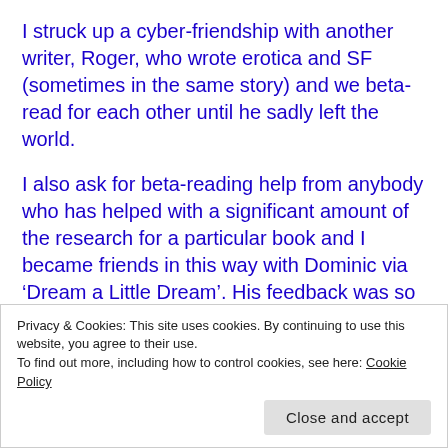I struck up a cyber-friendship with another writer, Roger, who wrote erotica and SF (sometimes in the same story) and we beta-read for each other until he sadly left the world.
I also ask for beta-reading help from anybody who has helped with a significant amount of the research for a particular book and I became friends in this way with Dominic via ‘Dream a Little Dream’. His feedback was so analytical and helpful that I asked if he’d fill Roger’s shoes for the next book, which he has done ever since.
Privacy & Cookies: This site uses cookies. By continuing to use this website, you agree to their use.
To find out more, including how to control cookies, see here: Cookie Policy